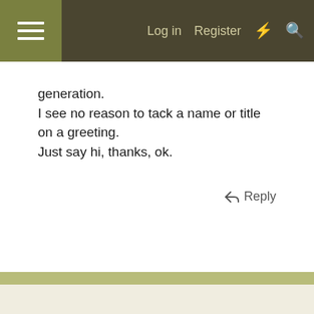Log in  Register
generation.
I see no reason to tack a name or title on a greeting.
Just say hi, thanks, ok.
Reply